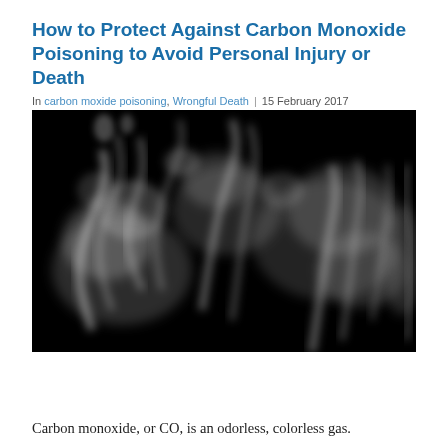How to Protect Against Carbon Monoxide Poisoning to Avoid Personal Injury or Death
In carbon moxide poisoning, Wrongful Death | 15 February 2017
[Figure (photo): Black background with white/grey smoke swirls, artistic smoke photography]
Carbon monoxide, or CO, is an odorless, colorless gas.